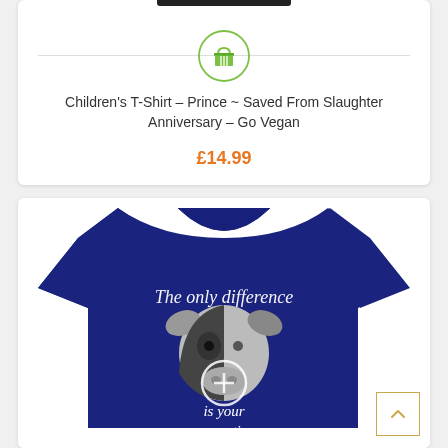[Figure (screenshot): Top of a product card showing a black bar at top, a horizontal dividing line with a green shopping basket icon centered on it.]
Children's T-Shirt – Prince ~ Saved From Slaughter Anniversary – Go Vegan
£14.99
[Figure (photo): Navy blue children's t-shirt with a cow face graphic and white cursive text reading 'The only difference is your perception']